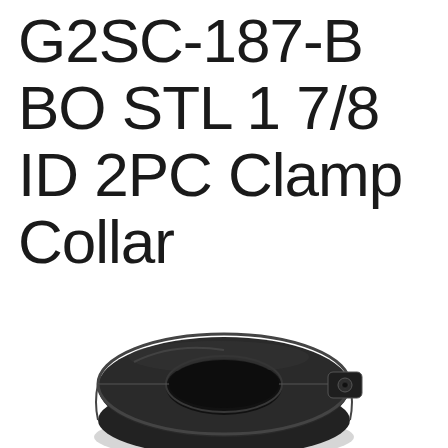G2SC-187-B BO STL 1 7/8 ID 2PC Clamp Collar
[Figure (photo): A black steel two-piece clamp collar with visible split and hex socket screw, shown in a three-quarter perspective view.]